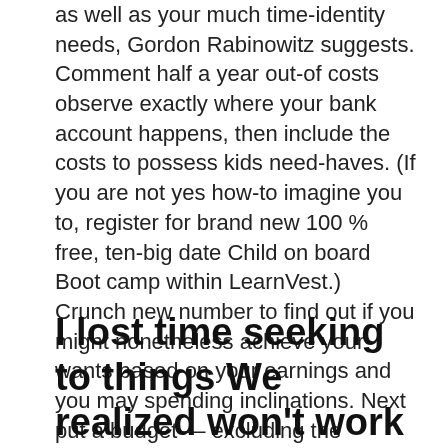as well as your much time-identity needs, Gordon Rabinowitz suggests. Comment half a year out-of costs observe exactly where your bank account happens, then include the costs to possess kids need-haves. (If you are not yes how-to imagine you to, register for brand new 100 % free, ten-big date Child on board Boot camp within LearnVest.) Crunch new number to find out if you might nonetheless achieve your wants based on your earnings and you may spending inclinations. Next put a budget — excluding the paycheck if you plan to stay family — so you can adjust to life into shorter before you even end up being a family group. Specify a quantity that two of you can purchase you need.
I lost time seeking to things We realized won't work — such as for example enabling